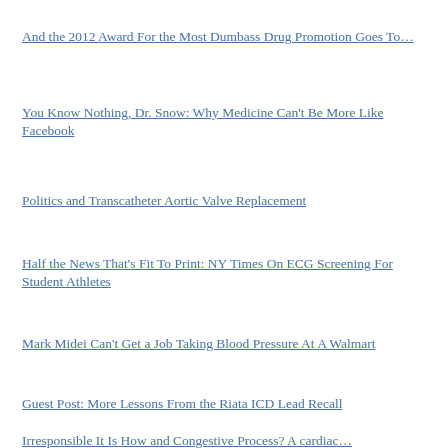And the 2012 Award For the Most Dumbass Drug Promotion Goes To…
You Know Nothing, Dr. Snow: Why Medicine Can't Be More Like Facebook
Politics and Transcatheter Aortic Valve Replacement
Half the News That's Fit To Print: NY Times On ECG Screening For Student Athletes
Mark Midei Can't Get a Job Taking Blood Pressure At A Walmart
Guest Post: More Lessons From the Riata ICD Lead Recall
Irresponsible It Is How and Congestive Process? A cardiac…